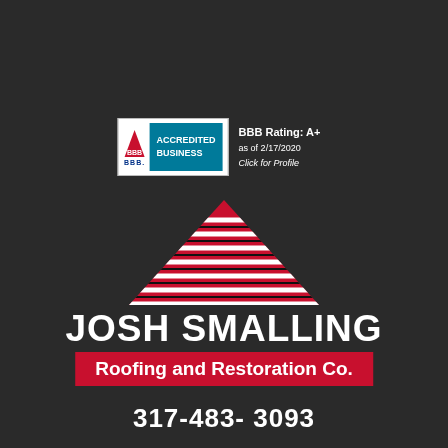[Figure (logo): Josh Smalling Roofing and Restoration Co. company logo with red and white striped rooftop triangle shape above the company name, on a dark background]
[Figure (logo): BBB Accredited Business badge with rating A+ as of 2/17/2020]
JOSH SMALLING
Roofing and Restoration Co.
317-483- 3093